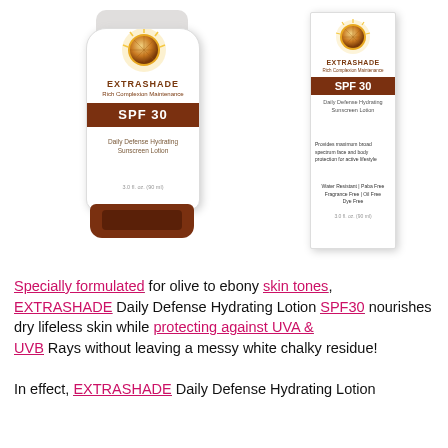[Figure (photo): Product photo showing EXTRASHADE SPF 30 Rich Complexion Maintenance Daily Defense Hydrating Sunscreen Lotion — a white squeeze tube with brown cap and a white box, both showing a sun logo, brown SPF 30 band, and product details. 3.0 fl oz (90 ml).]
Specially formulated for olive to ebony skin tones, EXTRASHADE Daily Defense Hydrating Lotion SPF30 nourishes dry lifeless skin while protecting against UVA & UVB Rays without leaving a messy white chalky residue!
In effect, EXTRASHADE Daily Defense Hydrating Lotion